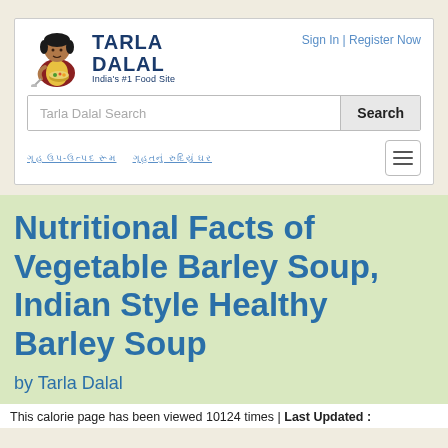[Figure (logo): Tarla Dalal logo with woman cooking illustration and text 'TARLA DALAL India's #1 Food Site']
Sign In | Register Now
Tarla Dalal Search
Search
ગૃહ ઉપ-ઉત્પદ રૂમ   •   ગૃહ ઉત્પ-ઉ ઉ ઉ ઉ ઉ ઉ ઉ
Nutritional Facts of Vegetable Barley Soup, Indian Style Healthy Barley Soup
by Tarla Dalal
This calorie page has been viewed 10124 times | Last Updated :